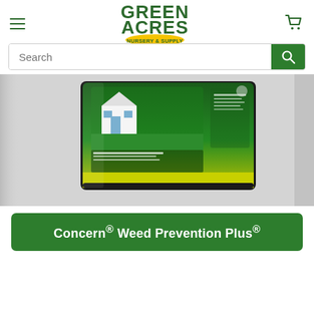Green Acres Nursery & Supply
[Figure (screenshot): Green Acres Nursery & Supply logo with hamburger menu and cart icon]
[Figure (photo): Product bag of Concern Weed Prevention Plus corn gluten lawn food 9-0-0, showing back of package with green lawn imagery]
Concern® Weed Prevention Plus®